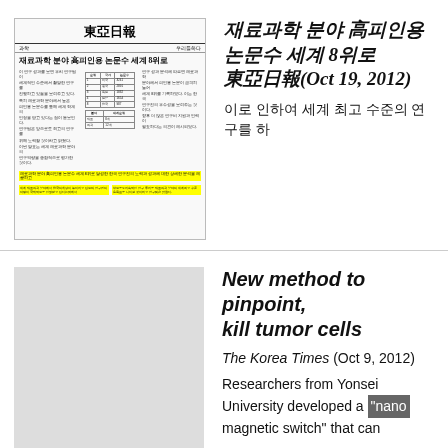[Figure (photo): Thumbnail of Dong-A Ilbo (東亞日報) Korean newspaper article about material science citation rankings, with yellow highlighted text sections]
재료과학 분야 高피인용 논문수 세계 8위로 東亞日報(Oct 19, 2012)
이로 인하여 세계 최고 수준의 연구를 하
New method to pinpoint, kill tumor cells
The Korea Times (Oct 9, 2012)
Researchers from Yonsei University developed a "nano magnetic switch" that can